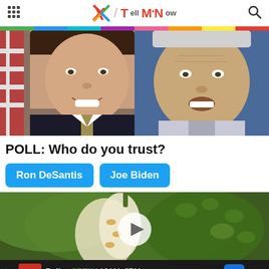X / TMN (Tell Me Now) — website header with grid menu, logo, and search icon
[Figure (photo): Split photo: left side shows Ron DeSantis (man in dark suit with American flag in background, smiling); right side shows Joe Biden (older man speaking, blue background)]
POLL: Who do you trust?
Ron DeSantis [button]
Joe Biden [button]
[Figure (photo): Close-up video thumbnail of a bitter melon (karela) cut open showing seeds, with a circular play button overlay in white]
Ad: Dulles OPEN | 10AM–8PM  45575 Dulles Eastern Plaza, Suite 171, D [with map navigation icon and close X]